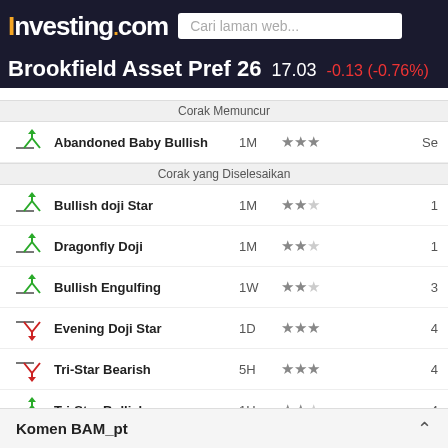Investing.com | Brookfield Asset Pref 26  17.03  -0.13 (-0.76%)
| Icon | Pattern | Timeframe | Reliability | Num |
| --- | --- | --- | --- | --- |
| bullish | Abandoned Baby Bullish | 1M | ★★★ | Se |
| bullish | Bullish doji Star | 1M | ★★ | 1 |
| bullish | Dragonfly Doji | 1M | ★★ | 1 |
| bullish | Bullish Engulfing | 1W | ★★ | 3 |
| bearish | Evening Doji Star | 1D | ★★★ | 4 |
| bearish | Tri-Star Bearish | 5H | ★★★ | 4 |
| bullish | Tri-Star Bullish | 1H | ★★ | 4 |
| bullish | Tri-Star Bullish | 30 | ★★ | 4 |
| bearish | Evening Star | 1M | ★★★ | 5 |
| bearish | Tri-Star Bearish | 1H | ★★★ | 5 |
| bearish | Tri-Star Bearish | 30 | ★★★ | 5 |
| bullish | Tri-Star Bullish | 15 | ★★ | 5 |
| bearish | Doji Star Bearish | 1M | ★★ |  |
| bearish | Tri-Star B… | — | ★★ |  |
Komen BAM_pt